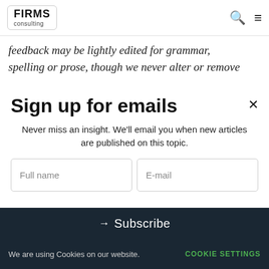FIRMS consulting
feedback may be lightly edited for grammar, spelling or prose, though we never alter or remove
Sign up for emails
Never miss an insight. We'll email you when new articles are published on this topic.
Full name
E-mail
Subscribe
We are using Cookies on our website.  COOKIE SETTINGS